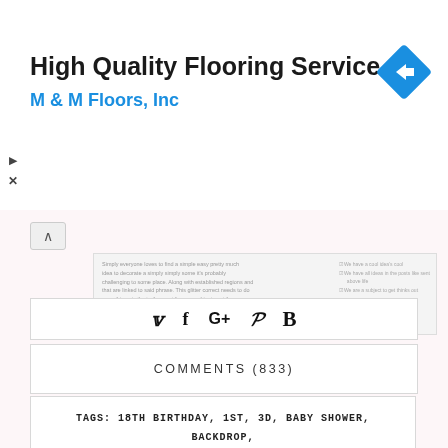[Figure (infographic): Advertisement banner for High Quality Flooring Service - M & M Floors, Inc with a blue navigation/direction sign icon]
[Figure (screenshot): Small document preview thumbnail showing text and checkbox list]
COMMENTS (833)
[Figure (infographic): Social sharing icons: Twitter bird, Facebook f, Google+, Pinterest P, Bloglovin B]
TAGS: 18TH BIRTHDAY, 1ST, 3D, BABY SHOWER, BACKDROP, BALLOONS, CENTERPIECE, DECOR IDEAS, DECORATIONS, DIY HOW TO MAKE TUTORIAL, EASY, FREE STANDING, GIANT NUMBERS, INSTRUCTIONS, JUMBO, MOSAIC, PARTY PLANNING, PHOTO, WEDDING